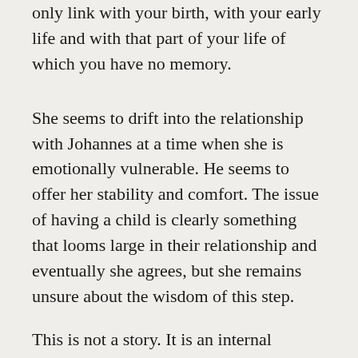only link with your birth, with your early life and with that part of your life of which you have no memory.
She seems to drift into the relationship with Johannes at a time when she is emotionally vulnerable. He seems to offer her stability and comfort. The issue of having a child is clearly something that looms large in their relationship and eventually she agrees, but she remains unsure about the wisdom of this step.
This is not a story. It is an internal monologue, an account of one woman's ambivalence about having a child of her own.